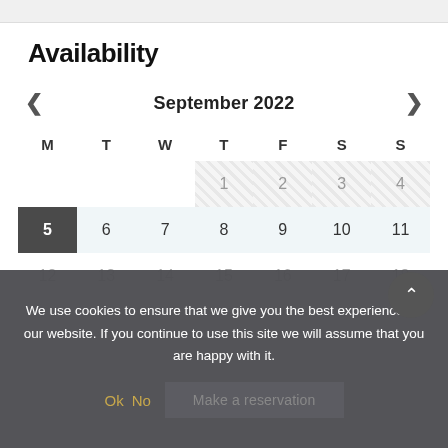Availability
[Figure (other): Calendar widget showing September 2022. Days 1-4 (Thu-Sun) are shown with a hatched/unavailable pattern. Day 5 (Mon) is selected with dark background. Days 6-18 are shown as available with light blue background.]
We use cookies to ensure that we give you the best experience on our website. If you continue to use this site we will assume that you are happy with it.